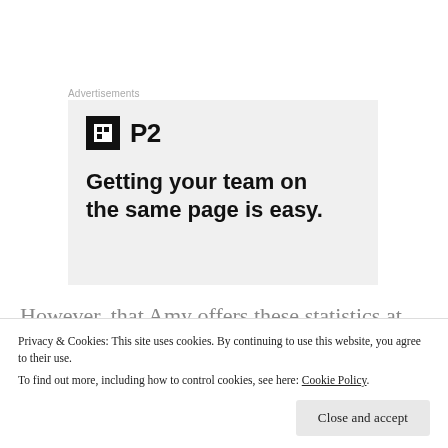Advertisements
[Figure (advertisement): P2 advertisement with logo and headline: Getting your team on the same page is easy.]
However, that Amy offers these statistics at the point of her arrest would seem to suggest that she does not feel that she should be arrested. That is, in saying to the
Privacy & Cookies: This site uses cookies. By continuing to use this website, you agree to their use.
To find out more, including how to control cookies, see here: Cookie Policy
Close and accept